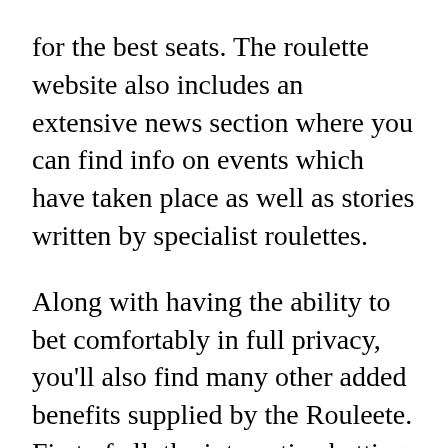for the best seats. The roulette website also includes an extensive news section where you can find info on events which have taken place as well as stories written by specialist roulettes.
Along with having the ability to bet comfortably in full privacy, you'll also find many other added benefits supplied by the Rouleete. First of all, the interactive betting games provided in most of the Rouleete's games enable you to try different betting strategies to see which ones work the best. The Rouleete site offers an entire set of strategies covering virtually every type of